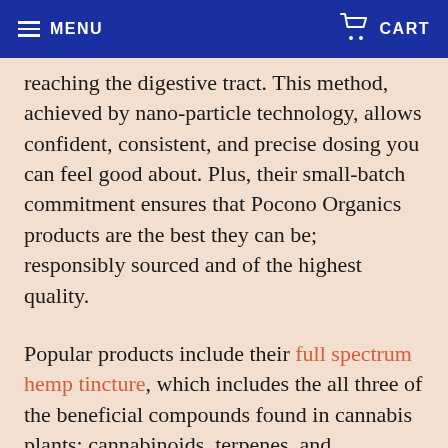MENU | CART
reaching the digestive tract. This method, achieved by nano-particle technology, allows confident, consistent, and precise dosing you can feel good about. Plus, their small-batch commitment ensures that Pocono Organics products are the best they can be; responsibly sourced and of the highest quality.
Popular products include their full spectrum hemp tincture, which includes the all three of the beneficial compounds found in cannabis plants: cannabinoids, terpenes, and flavonoids (which have